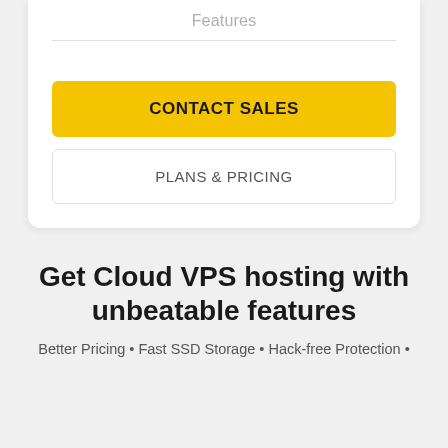Features
CONTACT SALES
PLANS & PRICING
Get Cloud VPS hosting with unbeatable features
Better Pricing • Fast SSD Storage • Hack-free Protection •